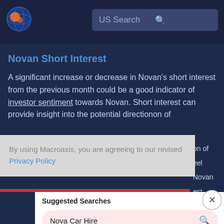[Figure (logo): Macroaxis logo: orange and blue circular globe icon]
US Search
Novan Short Interest
A significant increase or decrease in Novan's short interest from the previous month could be a good indicator of investor sentiment towards Novan. Short interest can provide insight into the potential direction of
By using Macroaxis, you are agreeing to our revised Privacy Policy
Suggested Searches
Nova Car Hire